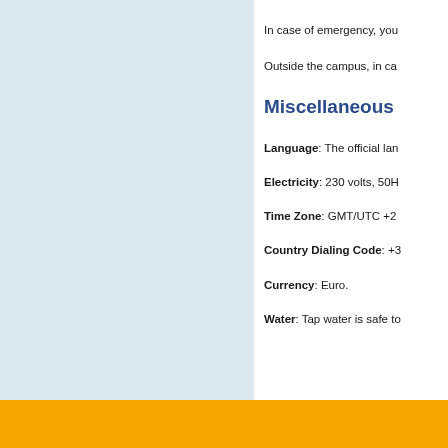In case of emergency, you
Outside the campus, in ca
Miscellaneous
Language: The official lan
Electricity: 230 volts, 50H
Time Zone: GMT/UTC +2
Country Dialing Code: +3
Currency: Euro.
Water: Tap water is safe to